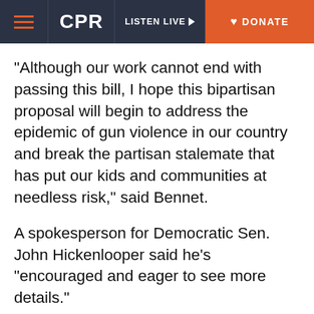CPR | LISTEN LIVE | DONATE
“Although our work cannot end with passing this bill, I hope this bipartisan proposal will begin to address the epidemic of gun violence in our country and break the partisan stalemate that has put our kids and communities at needless risk,” said Bennet.
A spokesperson for Democratic Sen. John Hickenlooper said he’s “encouraged and eager to see more details.”
The group negotiating the deal involved ten Democrats and ten Republicans. With the number of Republicans who have signaled support, it has enough votes to survive a filibuster.